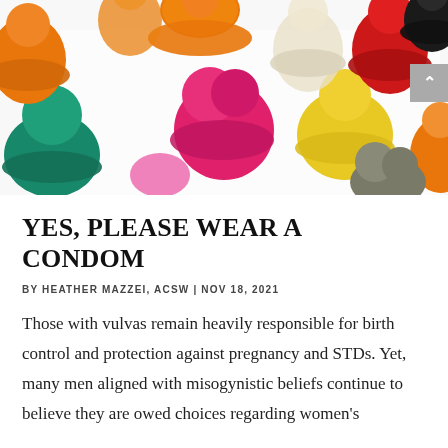[Figure (photo): Colorful condoms of various colors (orange, pink, yellow, green, red, black, grey, clear) unrolled and spread out against a white background, viewed from above.]
YES, PLEASE WEAR A CONDOM
BY HEATHER MAZZEI, ACSW | NOV 18, 2021
Those with vulvas remain heavily responsible for birth control and protection against pregnancy and STDs. Yet, many men aligned with misogynistic beliefs continue to believe they are owed choices regarding women's